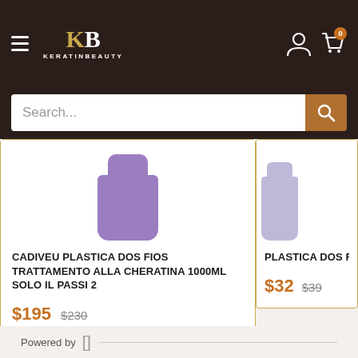[Figure (screenshot): KeratingBeauty website header with logo, hamburger menu, user icon, cart icon with badge 0]
[Figure (screenshot): Search bar with placeholder text 'Search...' and orange search button]
[Figure (photo): Purple bottle product image for Cadiveu Plastica Dos Fios]
CADIVEU PLASTICA DOS FIOS TRATTAMENTO ALLA CHERATINA 1000ml SOLO IL PASSI 2
$195  $230
[Figure (photo): Purple/lavender bottle product image for Plastica Dos Fios Shampoo]
PLASTICA DOS FIOS A SHAMPOO 300ml
$32  $39
Powered by []